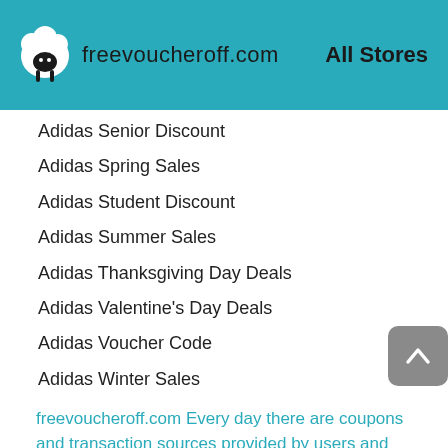freevoucheroff.com   All Stores
Adidas Senior Discount
Adidas Spring Sales
Adidas Student Discount
Adidas Summer Sales
Adidas Thanksgiving Day Deals
Adidas Valentine's Day Deals
Adidas Voucher Code
Adidas Winter Sales
freevoucheroff.com Every day there are coupons and transaction sources provided by users and visitors. Our goal is to build a must-visit website for consumers. Therefore, we will check these coupons as soon as possible. freevoucheroff.com will continue to ensure that all coupon codes and transactions are verified.